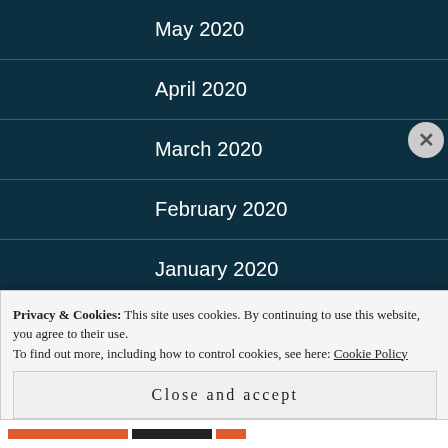May 2020
April 2020
March 2020
February 2020
January 2020
December 2019
November 2019
October 2019
Privacy & Cookies: This site uses cookies. By continuing to use this website, you agree to their use.
To find out more, including how to control cookies, see here: Cookie Policy
Close and accept